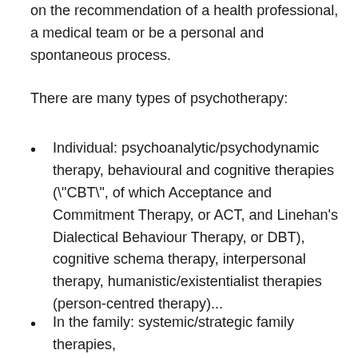on the recommendation of a health professional, a medical team or be a personal and spontaneous process.
There are many types of psychotherapy:
Individual: psychoanalytic/psychodynamic therapy, behavioural and cognitive therapies ("CBT", of which Acceptance and Commitment Therapy, or ACT, and Linehan's Dialectical Behaviour Therapy, or DBT), cognitive schema therapy, interpersonal therapy, humanistic/existentialist therapies (person-centred therapy)...
In the family: systemic/strategic family therapies,